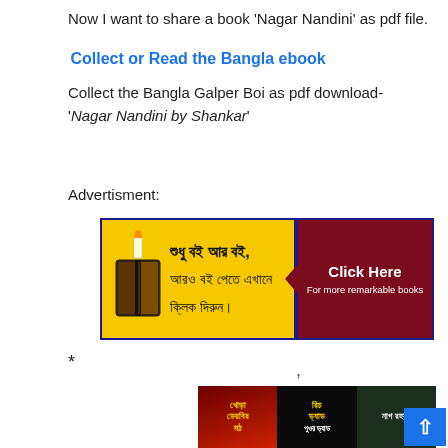Now I want to share a book 'Nagar Nandini' as pdf file.
Collect or Read the Bangla ebook
Collect the Bangla Galper Boi as pdf download- 'Nagar Nandini by Shankar'
Advertisment:
[Figure (illustration): Yellow advertisement banner with Bengali text and a dark red 'Click Here For more remarkable books' button with arrow on the right]
* ,
[Figure (illustration): Bottom banner showing three Bengali book covers: Khoda Darbarin Moth (red), Rich Dad Poor Dad in Bengali (black), Nag Rahasya (dark green)]